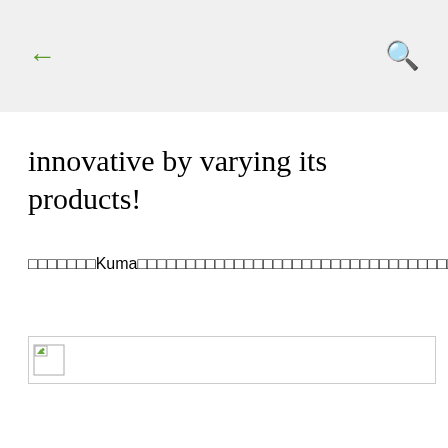← [back] [search]
innovative by varying its products!
□□□□□□□Kuma□□□□□□□□□□□□□□□□□□□□□□□□□□□□□□□□□□□□□□□□□□□□□□□□
[Figure (other): Broken image placeholder icon with border]